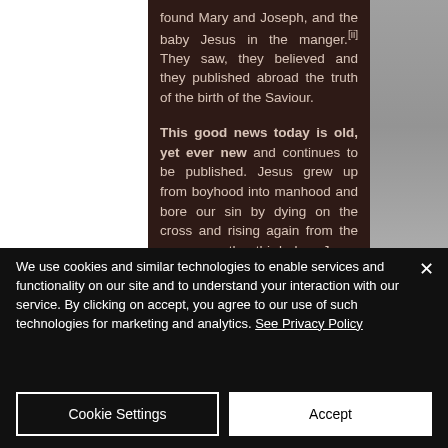found Mary and Joseph, and the baby Jesus in the manger.[ii] They saw, they believed and they published abroad the truth of the birth of the Saviour.
This good news today is old, yet ever new and continues to be published. Jesus grew up from boyhood into manhood and bore our sin by dying on the cross and rising again from the grave, on the third day. Jesus went back to heaven and He is coming back again.[iii] And now, He is offering pardon for sin and a new life to all who
We use cookies and similar technologies to enable services and functionality on our site and to understand your interaction with our service. By clicking on accept, you agree to our use of such technologies for marketing and analytics. See Privacy Policy